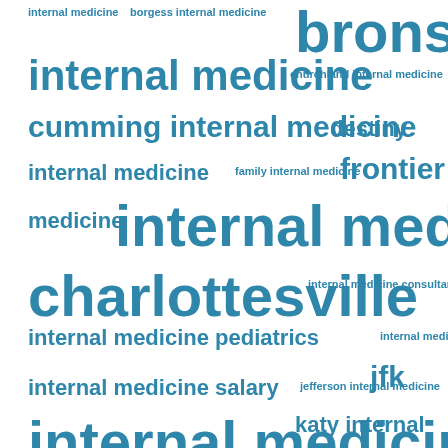[Figure (infographic): Word cloud featuring internal medicine related search terms in varying font sizes and weights, all in teal/blue color on white background. Larger words include 'bronson', 'internal medicine', 'cumming internal medicine', 'charlottesville', 'frontier internal medicine', 'jfk internal medicine', 'katy internal medicine'. Smaller words include 'borgess internal medicine', 'churchland internal medicine', 'destiny', 'family internal medicine', 'internal medicine consultants', 'internal medicine pediatrics', 'internal medicine physician', 'internal medicine salary', 'jefferson internal medicine', 'lafayette internal medicine', 'legacy internal medicine', 'lincoln'.]